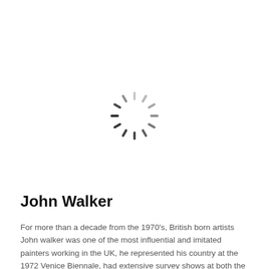[Figure (other): Loading spinner — circular arrangement of short dashes in dark gray fading to light gray, indicating an image is loading]
John Walker
For more than a decade from the 1970's, British born artists John walker was one of the most influential and imitated painters working in the UK, he represented his country at the 1972 Venice Biennale, had extensive survey shows at both the Tate and Hayward galleries and was shirtlisted for a Turner Prize in 1985.
View artist details